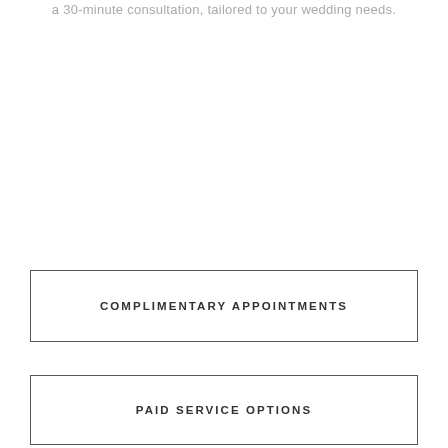a 30-minute consultation, tailored to your wedding needs.
COMPLIMENTARY APPOINTMENTS
PAID SERVICE OPTIONS